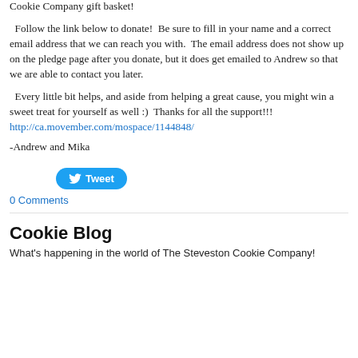Cookie Company gift basket!
Follow the link below to donate!  Be sure to fill in your name and a correct email address that we can reach you with.  The email address does not show up on the pledge page after you donate, but it does get emailed to Andrew so that we are able to contact you later.
Every little bit helps, and aside from helping a great cause, you might win a sweet treat for yourself as well :)  Thanks for all the support!!!  http://ca.movember.com/mospace/1144848/
-Andrew and Mika
[Figure (other): Tweet button with Twitter bird icon]
0 Comments
Cookie Blog
What's happening in the world of The Steveston Cookie Company!